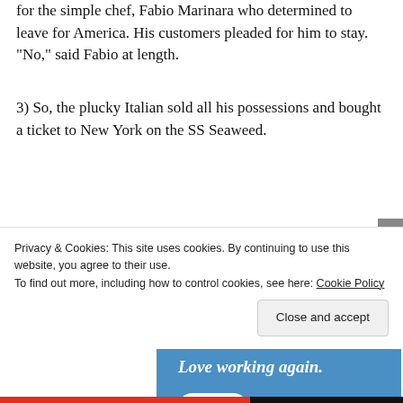for the simple chef, Fabio Marinara who determined to leave for America. His customers pleaded for him to stay. “No,” said Fabio at length.
3) So, the plucky Italian sold all his possessions and bought a ticket to New York on the SS Seaweed.
[Figure (other): Advertisement banner with blue background showing text 'Love working again.' and an 'Apply' button]
Privacy & Cookies: This site uses cookies. By continuing to use this website, you agree to their use.
To find out more, including how to control cookies, see here: Cookie Policy
Close and accept